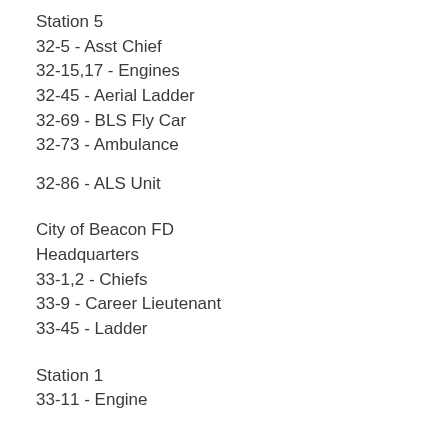Station 5
32-5 - Asst Chief
32-15,17 - Engines
32-45 - Aerial Ladder
32-69 - BLS Fly Car
32-73 - Ambulance
32-86 - ALS Unit
City of Beacon FD
Headquarters
33-1,2 - Chiefs
33-9 - Career Lieutenant
33-45 - Ladder
Station 1
33-11 - Engine